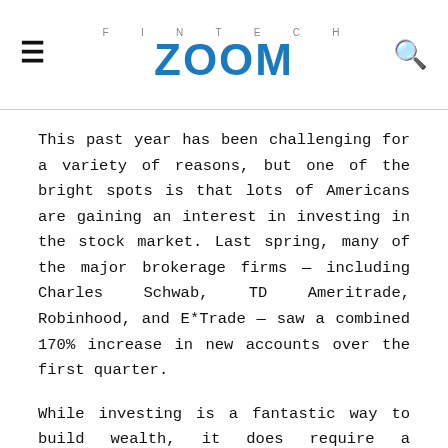FINTECH ZOOM
This past year has been challenging for a variety of reasons, but one of the bright spots is that lots of Americans are gaining an interest in investing in the stock market. Last spring, many of the major brokerage firms — including Charles Schwab, TD Ameritrade, Robinhood, and E*Trade — saw a combined 170% increase in new accounts over the first quarter.
While investing is a fantastic way to build wealth, it does require a strategy. If you're new to the stock market, it can be daunting to figure out where to invest. Especially with some experts predicting another crash is on